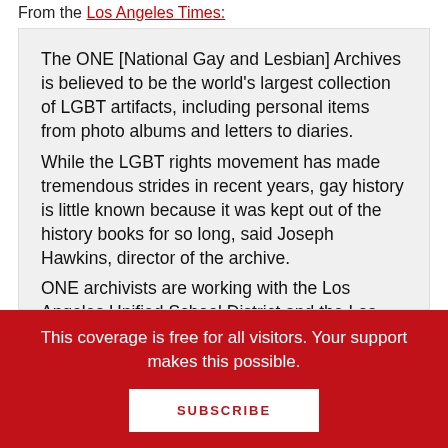From the Los Angeles Times:
The ONE [National Gay and Lesbian] Archives is believed to be the world's largest collection of LGBT artifacts, including personal items from photo albums and letters to diaries.
While the LGBT rights movement has made tremendous strides in recent years, gay history is little known because it was kept out of the history books for so long, said Joseph Hawkins, director of the archive.
ONE archivists are working with the Los Angeles Unified School District and the Los
This coverage is free for all visitors. Your support makes this possible.
SUBSCRIBE